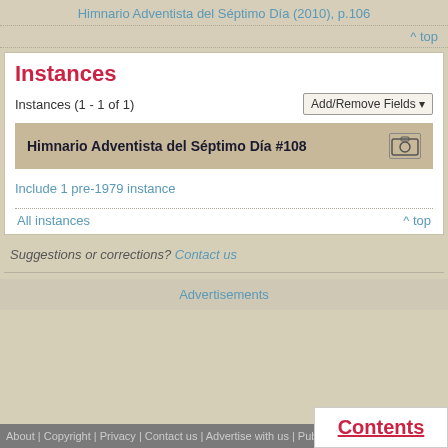Himnario Adventista del Séptimo Día (2010), p.106
^ top
Instances
Instances (1 - 1 of 1)
Himnario Adventista del Séptimo Día #108
Include 1 pre-1979 instance
All instances
^ top
Suggestions or corrections? Contact us
Advertisements
About | Copyright | Privacy | Contact us | Advertise with us | Publisher Pa...